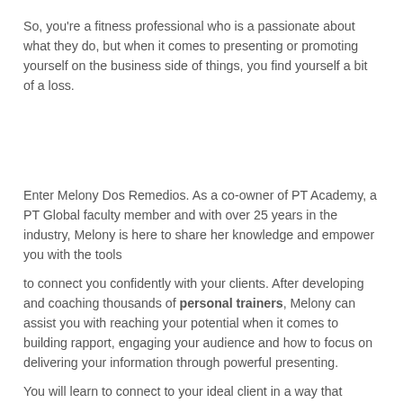So, you're a fitness professional who is a passionate about what they do, but when it comes to presenting or promoting yourself on the business side of things, you find yourself a bit of a loss.
Enter Melony Dos Remedios. As a co-owner of PT Academy, a PT Global faculty member and with over 25 years in the industry, Melony is here to share her knowledge and empower you with the tools
to connect you confidently with your clients. After developing and coaching thousands of personal trainers, Melony can assist you with reaching your potential when it comes to building rapport, engaging your audience and how to focus on delivering your information through powerful presenting.
You will learn to connect to your ideal client in a way that DRIVES